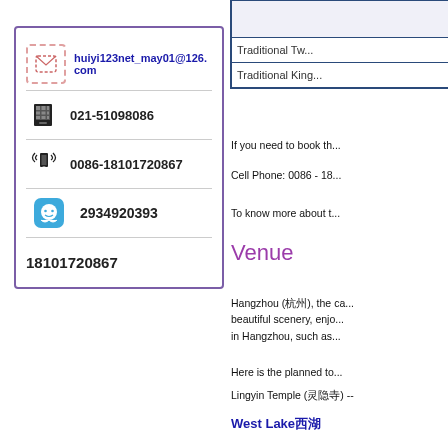|  | Traditional Tw... | Traditional King... |
| --- | --- | --- |
|  | Traditional Tw... |  |
|  |  | Traditional King... |
huiyi123net_may01@126.com
021-51098086
0086-18101720867
2934920393
18101720867
If you need to book th...
Cell Phone: 0086 - 18...
To know more about t...
Venue
Hangzhou (杭州), the cap... beautiful scenery, enjo... in Hangzhou, such as...
Here is the planned to...
Lingyin Temple (灵隐寺) --
West Lake西湖